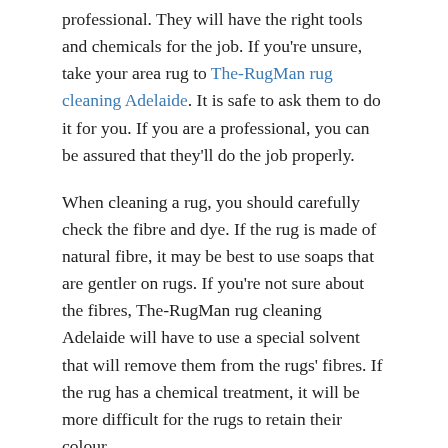professional. They will have the right tools and chemicals for the job. If you're unsure, take your area rug to The-RugMan rug cleaning Adelaide. It is safe to ask them to do it for you. If you are a professional, you can be assured that they'll do the job properly.
When cleaning a rug, you should carefully check the fibre and dye. If the rug is made of natural fibre, it may be best to use soaps that are gentler on rugs. If you're not sure about the fibres, The-RugMan rug cleaning Adelaide will have to use a special solvent that will remove them from the rugs' fibres. If the rug has a chemical treatment, it will be more difficult for the rugs to retain their colour.
The Ways to Choose a Building Inspector
By Robert Douglas   March 21, 2022